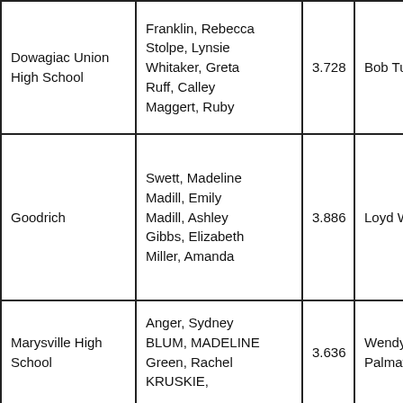| Dowagiac Union High School | Franklin, Rebecca
Stolpe, Lynsie
Whitaker, Greta
Ruff, Calley
Maggert, Ruby | 3.728 | Bob Turner |
| Goodrich | Swett, Madeline
Madill, Emily
Madill, Ashley
Gibbs, Elizabeth
Miller, Amanda | 3.886 | Loyd Walter |
| Marysville High School | Anger, Sydney
BLUM, MADELINE
Green, Rachel
KRUSKIE, | 3.636 | Wendy Palmateer |